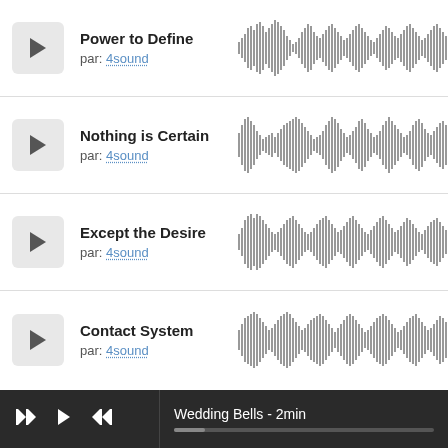Power to Define — par: 4sound
[Figure (continuous-plot): Audio waveform for Power to Define]
Nothing is Certain — par: 4sound
[Figure (continuous-plot): Audio waveform for Nothing is Certain]
Except the Desire — par: 4sound
[Figure (continuous-plot): Audio waveform for Except the Desire]
Contact System — par: 4sound
[Figure (continuous-plot): Audio waveform for Contact System]
Wedding Bells - 2min